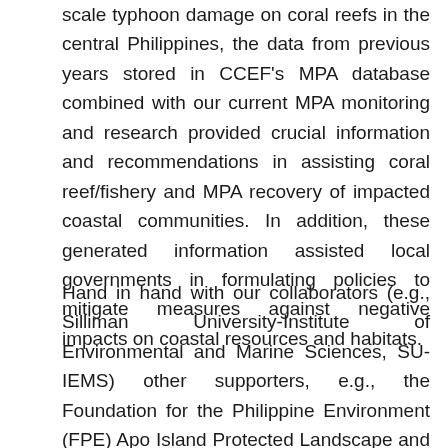scale typhoon damage on coral reefs in the central Philippines, the data from previous years stored in CCEF's MPA database combined with our current MPA monitoring and research provided crucial information and recommendations in assisting coral reef/fishery and MPA recovery of impacted coastal communities. In addition, these generated information assisted local governments in formulating policies to mitigate measures against negative impacts on coastal resources and habitats.
Hand in hand with our collaborators (e.g., Silliman University-Institute of Environmental and Marine Sciences, SU-IEMS) other supporters, e.g., the Foundation for the Philippine Environment (FPE) Apo Island Protected Landscape and Seascape (AIPLS) through DENR, the Municipality of Dauin and Barangay